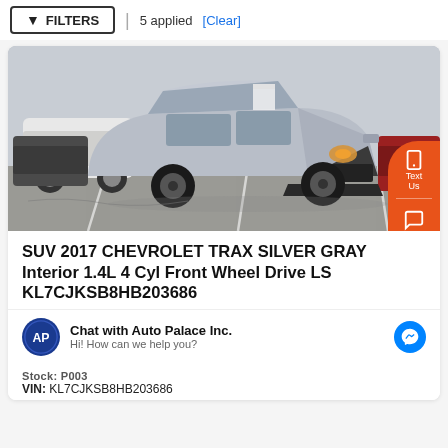FILTERS | 5 applied [Clear]
[Figure (photo): Silver/gray Chevrolet Trax SUV parked in a dealership lot, front 3/4 view, with other vehicles visible in the background.]
SUV 2017 CHEVROLET TRAX SILVER GRAY Interior 1.4L 4 Cyl Front Wheel Drive LS KL7CJKSB8HB203686
Chat with Auto Palace Inc. Hi! How can we help you?
Stock: P003
VIN: KL7CJKSB8HB203686